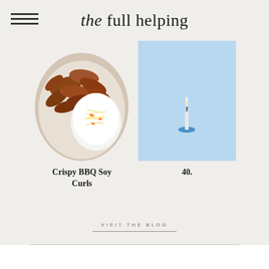the full helping
[Figure (photo): Bowl of crispy BBQ soy curls with coleslaw in a white bowl, close-up food photography]
[Figure (photo): A single lit birthday candle on a blue background, minimalist style]
Crispy BBQ Soy Curls
40.
VISIT THE BLOG